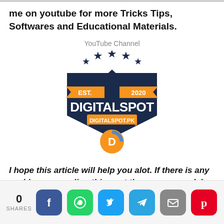me on youtube for more Tricks Tips, Softwares and Educational Materials.
YouTube Channel
[Figure (logo): DigitalSpot logo: shield shape in dark navy blue with five stars across the top, orange EST. and 2020 ribbon banners on the sides, DIGITALSPOT text in white bold, DIGITALSPOT.PK orange banner below, and a circular orange icon with D at the bottom.]
I hope this article will help you alot. If there is any problems regarding this post then you can ask by writing in the comments box and I will do
0 SHARES [Facebook] [WhatsApp] [Twitter] [Telegram] [Email] [Pinterest]